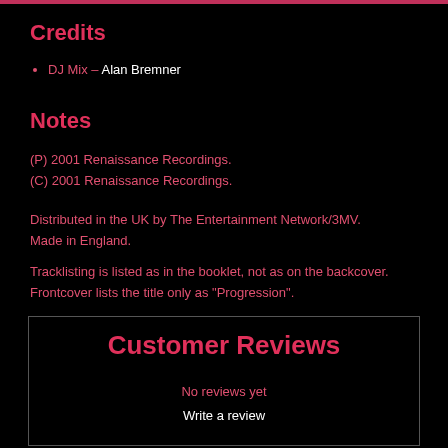Credits
DJ Mix – Alan Bremner
Notes
(P) 2001 Renaissance Recordings.
(C) 2001 Renaissance Recordings.
Distributed in the UK by The Entertainment Network/3MV.
Made in England.
Tracklisting is listed as in the booklet, not as on the backcover.
Frontcover lists the title only as "Progression".
Customer Reviews
No reviews yet
Write a review